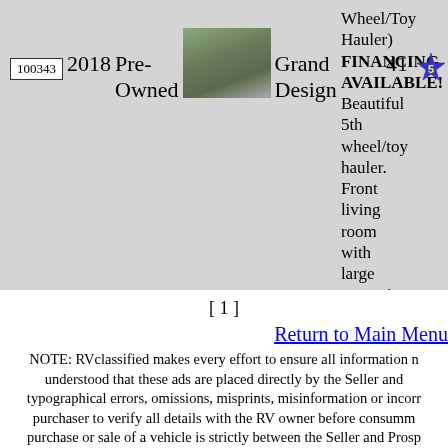100343 2018 Pre-Owned [photo] Grand Design Wheel/Toy Hauler) FINANCING AVAILABLE! 41' Beautiful 5th wheel/toy hauler. Front living room with large entertainment center, 2 couches and 2 recliners. Center ...
[ 1 ]
Return to Main Menu
NOTE: RVclassified makes every effort to ensure all information is understood that these ads are placed directly by the Seller and typographical errors, omissions, misprints, misinformation or incorr purchaser to verify all details with the RV owner before consumm purchase or sale of a vehicle is strictly between the Seller and Prosp Sellers & Purchasers review our FRAUD ALERTS page